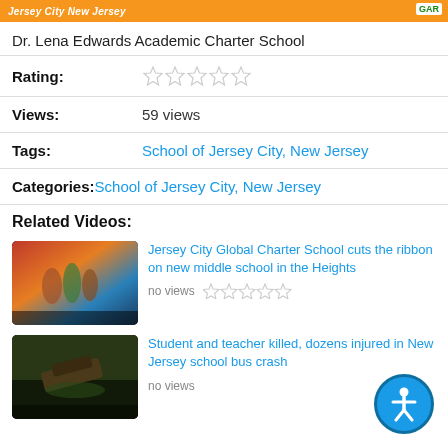Jersey City New Jersey
Dr. Lena Edwards Academic Charter School
Rating: (5 empty stars)
Views: 59 views
Tags: School of Jersey City, New Jersey
Categories: School of Jersey City, New Jersey
Related Videos:
[Figure (photo): Thumbnail showing people at a ribbon-cutting ceremony]
Jersey City Global Charter School cuts the ribbon on new middle school in the Heights
no views
[Figure (photo): Thumbnail showing aerial view of a school bus crash scene]
Student and teacher killed, dozens injured in New Jersey school bus crash
no views